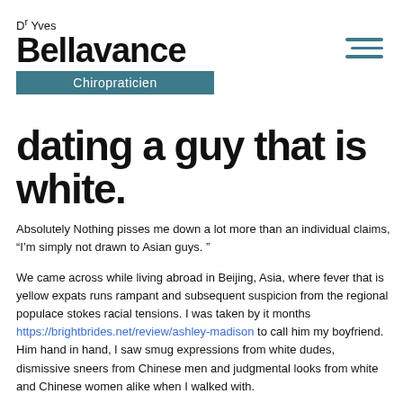[Figure (logo): Dr Yves Bellavance Chiropraticien logo with teal banner]
dating a guy that is white.
Absolutely Nothing pisses me down a lot more than an individual claims, “I’m simply not drawn to Asian guys. ”
We came across while living abroad in Beijing, Asia, where fever that is yellow expats runs rampant and subsequent suspicion from the regional populace stokes racial tensions. I was taken by it months https://brightbrides.net/review/ashley-madison to call him my boyfriend. Him hand in hand, I saw smug expressions from white dudes, dismissive sneers from Chinese men and judgmental looks from white and Chinese women alike when I walked with.
San Franciscans are usually more informed with regards to things of race, yet nonetheless we witness moments of appalling lack of knowledge. Denigrating jokes (or perhaps rants that are altogether